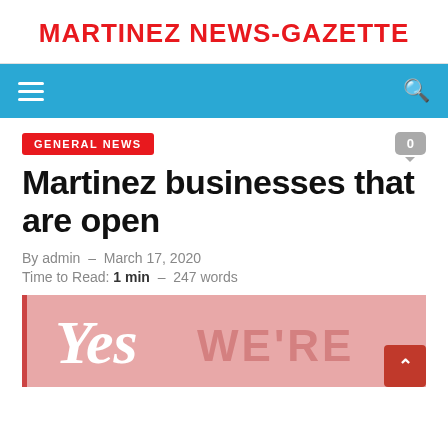MARTINEZ NEWS-GAZETTE
[Figure (screenshot): Navigation bar with hamburger menu icon on the left and search icon on the right, blue background]
GENERAL NEWS
Martinez businesses that are open
By admin - March 17, 2020
Time to Read: 1 min - 247 words
[Figure (photo): Pink banner image with white cursive 'Yes' text and block letters 'WE'RE' partially visible]